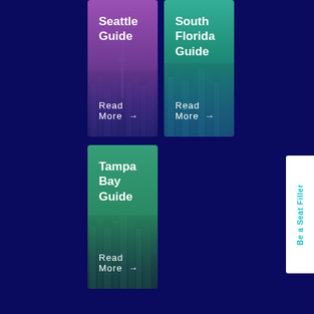[Figure (photo): Seattle city guide card with purple/pink gradient overlay over Seattle skyline image, showing Space Needle]
Seattle Guide
Read More →
[Figure (photo): South Florida city guide card with teal/green gradient overlay over South Florida cityscape]
South Florida Guide
Read More →
[Figure (photo): Tampa Bay city guide card with green/teal gradient overlay over Tampa Bay cityscape at night]
Tampa Bay Guide
Read More →
Be a Seat Filler